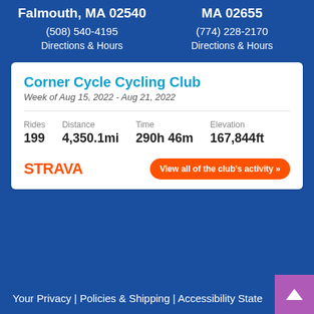Falmouth, MA 02540
MA 02655
(508) 540-4195
(774) 228-2170
Directions & Hours
Directions & Hours
Corner Cycle Cycling Club
Week of Aug 15, 2022 - Aug 21, 2022
| Rides | Distance | Time | Elevation |
| --- | --- | --- | --- |
| 199 | 4,350.1mi | 290h 46m | 167,844ft |
[Figure (logo): Strava logo in orange]
View all of the club's activity »
Your Privacy | Policies & Shipping | Accessibility State